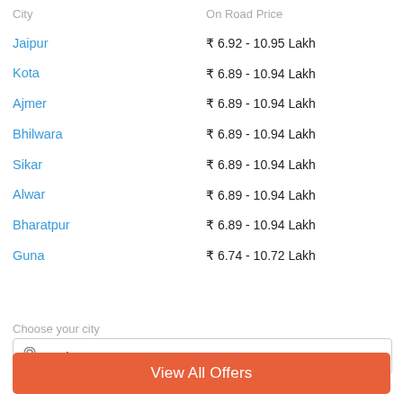| City | On Road Price |
| --- | --- |
| Jaipur | ₹ 6.92 - 10.95 Lakh |
| Kota | ₹ 6.89 - 10.94 Lakh |
| Ajmer | ₹ 6.89 - 10.94 Lakh |
| Bhilwara | ₹ 6.89 - 10.94 Lakh |
| Sikar | ₹ 6.89 - 10.94 Lakh |
| Alwar | ₹ 6.89 - 10.94 Lakh |
| Bharatpur | ₹ 6.89 - 10.94 Lakh |
| Guna | ₹ 6.74 - 10.72 Lakh |
Choose your city
Tonk
View All Offers